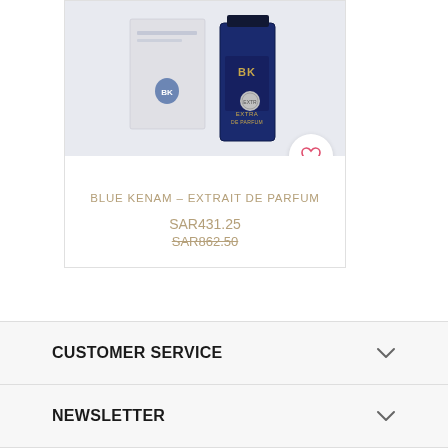[Figure (photo): Product photo of Blue Kenam Extrait de Parfum perfume bottle and box, dark blue bottle with silver medallion and white/navy packaging]
BLUE KENAM – EXTRAIT DE PARFUM
SAR431.25
SAR862.50
CUSTOMER SERVICE
NEWSLETTER